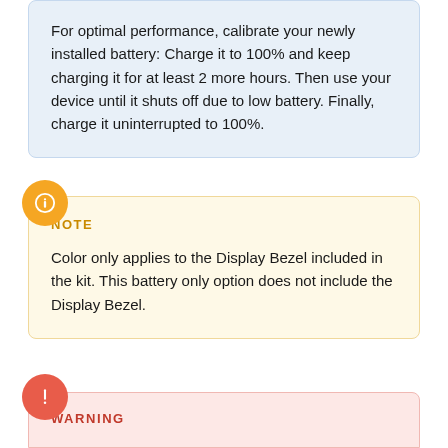For optimal performance, calibrate your newly installed battery: Charge it to 100% and keep charging it for at least 2 more hours. Then use your device until it shuts off due to low battery. Finally, charge it uninterrupted to 100%.
NOTE
Color only applies to the Display Bezel included in the kit. This battery only option does not include the Display Bezel.
WARNING